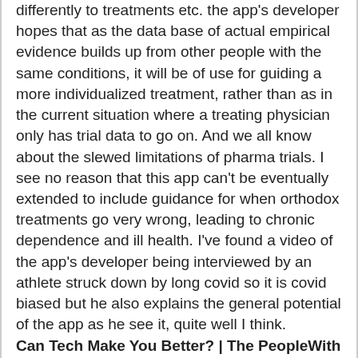differently to treatments etc. the app's developer hopes that as the data base of actual empirical evidence builds up from other people with the same conditions, it will be of use for guiding a more individualized treatment, rather than as in the current situation where a treating physician only has trial data to go on. And we all know about the slewed limitations of pharma trials. I see no reason that this app can't be eventually extended to include guidance for when orthodox treatments go very wrong, leading to chronic dependence and ill health. I've found a video of the app's developer being interviewed by an athlete struck down by long covid so it is covid biased but he also explains the general potential of the app as he see it, quite well I think.
Can Tech Make You Better? | The PeopleWith App Just Might
https://www.youtube.com/watch?v=uhCvnNqm-